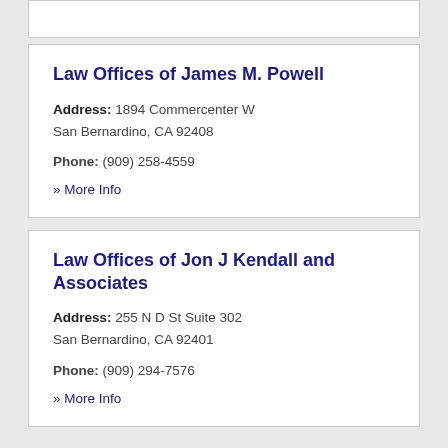Law Offices of James M. Powell
Address: 1894 Commercenter W San Bernardino, CA 92408
Phone: (909) 258-4559
» More Info
Law Offices of Jon J Kendall and Associates
Address: 255 N D St Suite 302 San Bernardino, CA 92401
Phone: (909) 294-7576
» More Info